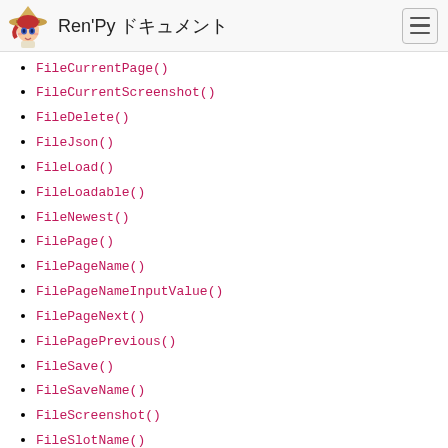Ren'Py ドキュメント
FileCurrentPage()
FileCurrentScreenshot()
FileDelete()
FileJson()
FileLoad()
FileLoadable()
FileNewest()
FilePage()
FilePageName()
FilePageNameInputValue()
FilePageNext()
FilePagePrevious()
FileSave()
FileSaveName()
FileScreenshot()
FileSlotName()
FileTakeScreenshot()
FileTime()
FileUsedSlots()